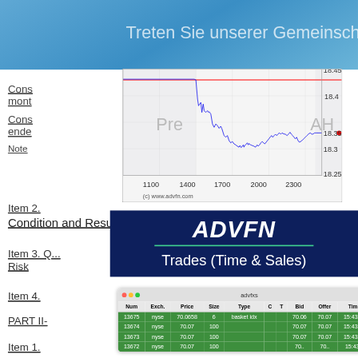Treten Sie unserer Gemeinsch
[Figure (continuous-plot): Stock price intraday chart showing price between approximately 18.25 and 18.45, with a horizontal red line near 18.43 and a blue price line dropping from ~18.5 to 18.25 range across time axis from 1100 to 2300. Labels Pre and AH visible in background. Red dot at 18.35 on right.]
(c) www.advfn.com
Cons... mont...
Cons... ende...
Note
Item 2.
Condition and Results of Operations
Item 3. Q... Risk
Item 4.
PART II-
Item 1.
[Figure (logo): ADVFN logo in white bold italic on dark blue background with green underline and subtitle 'Trades (Time & Sales)']
| Num | Exch. | Price | Size | Type | C | T | Bid | Offer | Tim |
| --- | --- | --- | --- | --- | --- | --- | --- | --- | --- |
| 13675 | nyse | 70.0658 | 6 | basket idx |  |  | 70.06 | 70.07 | 15:43:5 |
| 13674 | nyse | 70.07 | 100 |  |  |  | 70.07 | 70.07 | 15:43:1 |
| 13673 | nyse | 70.07 | 100 |  |  |  | 70.07 | 70.07 | 15:43:1 |
| 13672 | nyse | 70.07 | 100 |  |  |  | 70.. | 70.. | 15:43: |